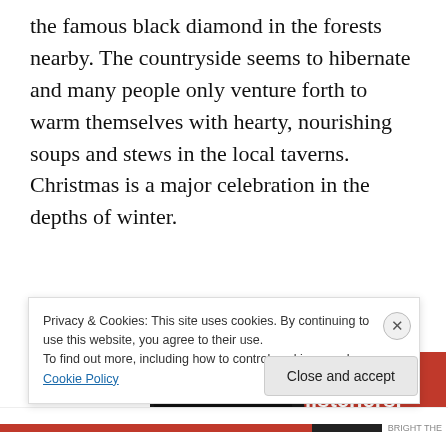the famous black diamond in the forests nearby. The countryside seems to hibernate and many people only venture forth to warm themselves with hearty, nourishing soups and stews in the local taverns. Christmas is a major celebration in the depths of winter.
[Figure (photo): Advertisement banner showing a smartphone with a podcast app displaying 'Distributed' text, on a red background with text 'listeners.' and a 'Download now' button.]
Privacy & Cookies: This site uses cookies. By continuing to use this website, you agree to their use.
To find out more, including how to control cookies, see here: Cookie Policy
Close and accept